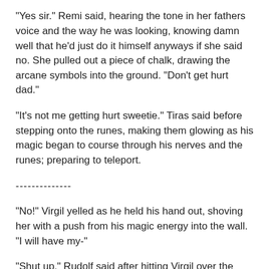stop Tiras. "Remi, draw the space and time rune, now."
"Yes sir." Remi said, hearing the tone in her fathers voice and the way he was looking, knowing damn well that he'd just do it himself anyways if she said no. She pulled out a piece of chalk, drawing the arcane symbols into the ground. "Don't get hurt dad."
"It's not me getting hurt sweetie." Tiras said before stepping onto the runes, making them glowing as his magic began to course through his nerves and the runes; preparing to teleport.
--------------
"No!" Virgil yelled as he held his hand out, shoving her with a push from his magic energy into the wall. "I will have my-"
"Shut up." Rudolf said after hitting Virgil over the head, having an angry expression on his face. "Nobody shoves my sister into a wall, not even my dad."